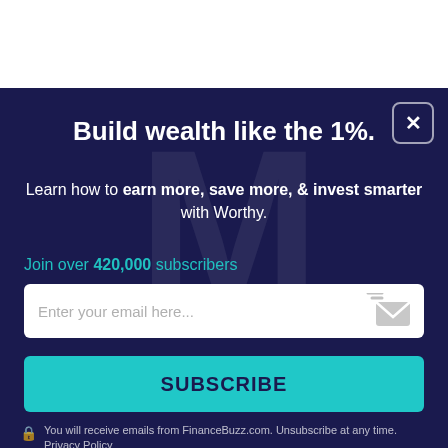Build wealth like the 1%.
Learn how to earn more, save more, & invest smarter with Worthy.
Join over 420,000 subscribers
Enter your email here...
SUBSCRIBE
You will receive emails from FinanceBuzz.com. Unsubscribe at any time. Privacy Policy
Exclusive insider content